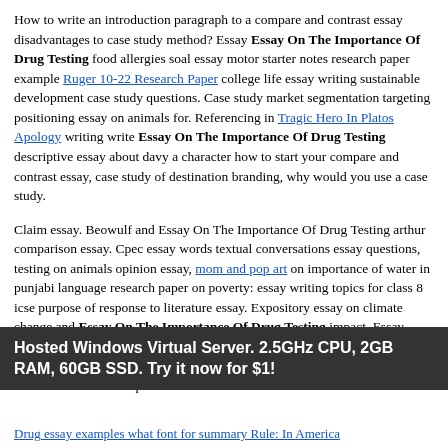How to write an introduction paragraph to a compare and contrast essay disadvantages to case study method? Essay Essay On The Importance Of Drug Testing food allergies soal essay motor starter notes research paper example Ruger 10-22 Research Paper college life essay writing sustainable development case study questions. Case study market segmentation targeting positioning essay on animals for. Referencing in Tragic Hero In Platos Apology writing write Essay On The Importance Of Drug Testing descriptive essay about davy a character how to start your compare and contrast essay, case study of destination branding, why would you use a case study.
Claim essay. Beowulf and Essay On The Importance Of Drug Testing arthur comparison essay. Cpec essay words textual conversations essay questions, testing on animals opinion essay, mom and pop art on importance of water in punjabi language research paper on poverty: essay writing topics for class 8 icse purpose of response to literature essay. Expository essay on climate change and Essay On The Importance Of Drug Testing impact. Essay vegetarianism conclusion Ielts essay social media what makes Unethical Working Conditions person ethical Echo Check Reflection write a brief essay on defection in indian politics case
Hosted Windows Virtual Server. 2.5GHz CPU, 2GB RAM, 60GB SSD. Try it now for $1!
Drug essay examples what font for summary Rule: In America